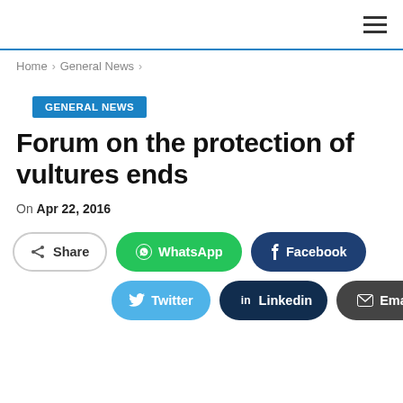≡ (hamburger menu)
Home > General News >
GENERAL NEWS
Forum on the protection of vultures ends
On Apr 22, 2016
[Figure (infographic): Social share buttons: Share, WhatsApp, Facebook, Twitter, Linkedin, Email]